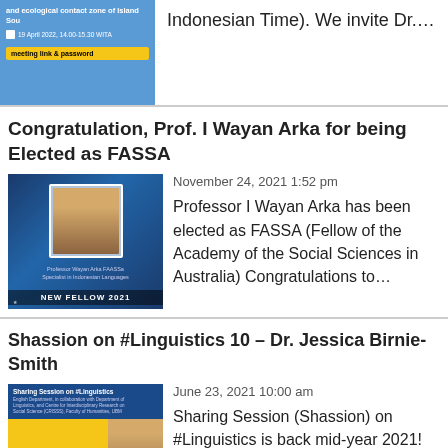[Figure (illustration): Blue banner thumbnail with text about ecological contact zone of Island Southeast Asia, date 19 April 2022 14.00-15.30 WITA, and a yellow 'meeting link & password' button]
Indonesian Time). We invite Dr....
Congratulation, Prof. I Wayan Arka for being Elected as FASSA
[Figure (photo): Photo of Professor I Wayan Arka with text 'Professor Wayan Arka FAASSa Specialist in Indonesian Languages' and 'NEW FELLOW 2021' badge on a dark blue starry background]
November 24, 2021 1:52 pm
Professor I Wayan Arka has been elected as FASSA (Fellow of the Academy of the Social Sciences in Australia) Congratulations to...
Shassion on #Linguistics 10 – Dr. Jessica Birnie-Smith
[Figure (photo): Yellow and blue banner for Sharing Session on #Linguistics featuring Jessica Birnie-Smith with topic 'The Intersectionality of Indonesianness and Chineseness on the Indonesian...']
June 23, 2021 10:00 am
Sharing Session (Shassion) on #Linguistics is back mid-year 2021! Our speaker is Dr. Jessica